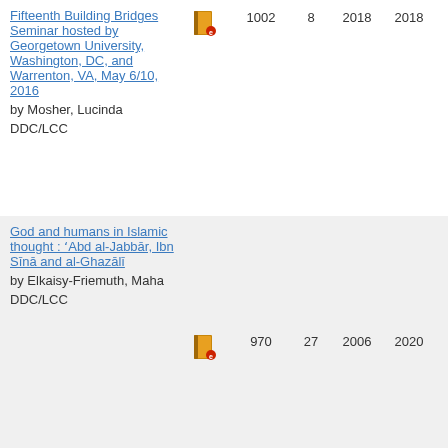| Title | Icon | Number | Count | Year1 | Year2 |
| --- | --- | --- | --- | --- | --- |
| Fifteenth Building Bridges Seminar hosted by Georgetown University, Washington, DC, and Warrenton, VA, May 6/10, 2016
by Mosher, Lucinda
DDC/LCC | [book icon] | 1002 | 8 | 2018 | 2018 |
| God and humans in Islamic thought : ʻAbd al-Jabbār, Ibn Sīnā and al-Ghazālī
by Elkaisy-Friemuth, Maha
DDC/LCC | [book icon] | 970 | 27 | 2006 | 2020 |